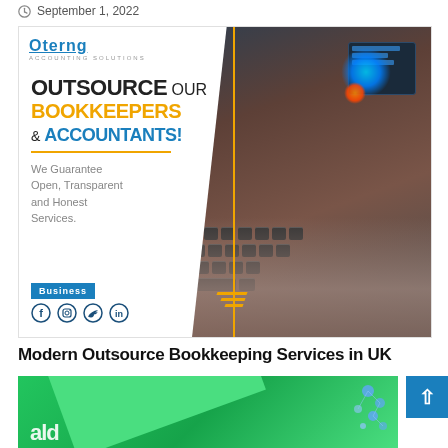September 1, 2022
[Figure (illustration): Advertisement for outsourced bookkeeping and accounting services showing bold headline text: OUTSOURCE OUR BOOKKEEPERS & ACCOUNTANTS! We Guarantee Open, Transparent and Honest Services. Business badge and social media icons visible at bottom left. Photo of hands typing on laptop keyboard on right side.]
Modern Outsource Bookkeeping Services in UK
September 1, 2022
[Figure (illustration): Bottom portion of a green-themed graphic/advertisement with white and blue decorative elements partially visible.]